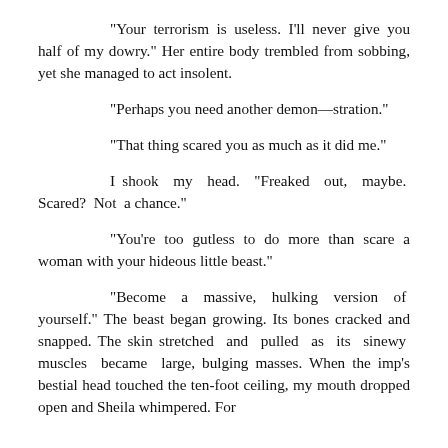“Your terrorism is useless. I’ll never give you half of my dowry.” Her entire body trembled from sobbing, yet she managed to act insolent.
“Perhaps you need another demon—stration.”
“That thing scared you as much as it did me.”
I shook my head. “Freaked out, maybe. Scared? Not a chance.”
“You’re too gutless to do more than scare a woman with your hideous little beast.”
“Become a massive, hulking version of yourself.” The beast began growing. Its bones cracked and snapped. The skin stretched and pulled as its sinewy muscles became large, bulging masses. When the imp’s bestial head touched the ten-foot ceiling, my mouth dropped open and Sheila whimpered. For